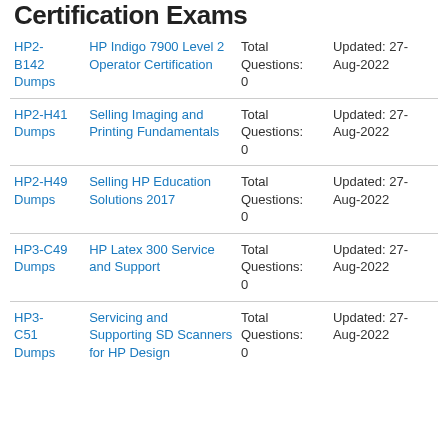Certification Exams
| Code | Name | Total Questions | Updated |
| --- | --- | --- | --- |
| HP2-B142 Dumps | HP Indigo 7900 Level 2 Operator Certification | Total Questions: 0 | Updated: 27-Aug-2022 |
| HP2-H41 Dumps | Selling Imaging and Printing Fundamentals | Total Questions: 0 | Updated: 27-Aug-2022 |
| HP2-H49 Dumps | Selling HP Education Solutions 2017 | Total Questions: 0 | Updated: 27-Aug-2022 |
| HP3-C49 Dumps | HP Latex 300 Service and Support | Total Questions: 0 | Updated: 27-Aug-2022 |
| HP3-C51 Dumps | Servicing and Supporting SD Scanners for HP Design | Total Questions: 0 | Updated: 27-Aug-2022 |